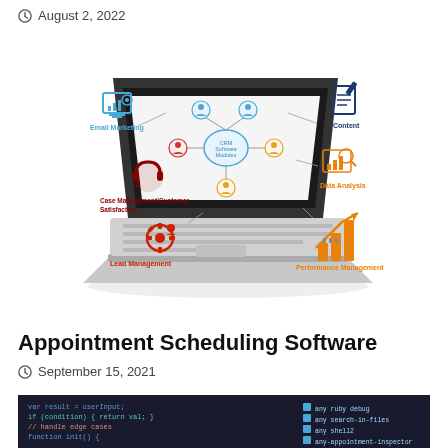August 2, 2022
[Figure (infographic): CRM Software Modules infographic showing a laptop with a CRM diagram on screen. Icons and labels around the laptop: Email Marketing (top-left, blue monitor/chart icon), Content (top-right, blue document icon), Case Management/Customer Satisfaction (left, dark red headset icon), Data Analysis (right, orange chart icon), Lead Management (bottom-left, red gear/person icon), Performance Management (bottom-right, orange bar chart icon).]
Appointment Scheduling Software
September 15, 2021
[Figure (screenshot): Partial screenshot of a code editor or terminal with dark background showing colored text/code.]